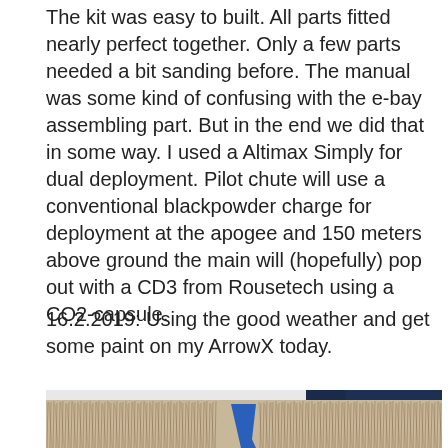The kit was easy to built. All parts fitted nearly perfect together. Only a few parts needed a bit sanding before. The manual was some kind of confusing with the e-bay assembling part. But in the end we did that in some way. I used a Altimax Simply for dual deployment. Pilot chute will use a conventional blackpowder charge for deployment at the apogee and 150 meters above ground the main will (hopefully) pop out with a CD3 from Rousetech using a CO2-capsule.
16.2.2019: Using the good weather and get some paint on my ArrowX today.
[Figure (photo): Close-up photo of a rocket fin or body section with many thin fibrous/composite strands visible, a blue painted nose or fin tip visible in the center, and a dark navy blue upper section at the top of the image.]